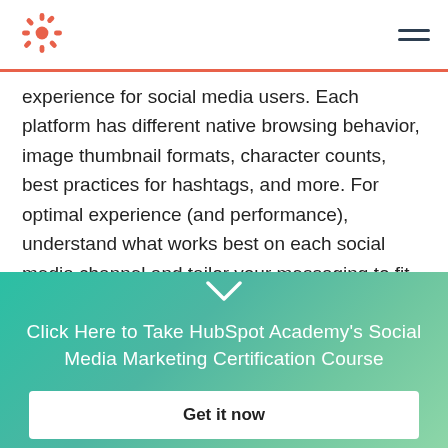HubSpot logo and navigation menu
experience for social media users. Each platform has different native browsing behavior, image thumbnail formats, character counts, best practices for hashtags, and more. For optimal experience (and performance), understand what works best on each social media channel and tailor your messaging to fit.
10. Never stop learning.
Click Here to Take HubSpot Academy's Social Media Marketing Certification Course
Get it now